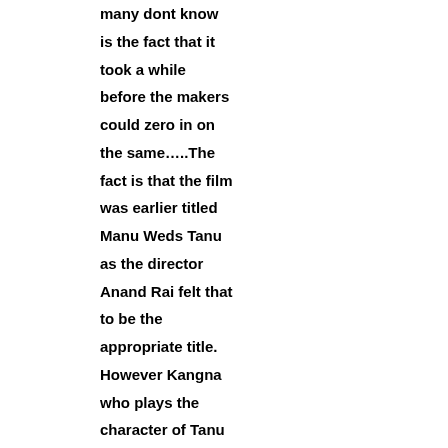many dont know is the fact that it took a while before the makers could zero in on the same…..The fact is that the film was earlier titled Manu Weds Tanu as the director Anand Rai felt that to be the appropriate title. However Kangna who plays the character of Tanu in the film insisted that the title should be Tanu Weds Manu and not